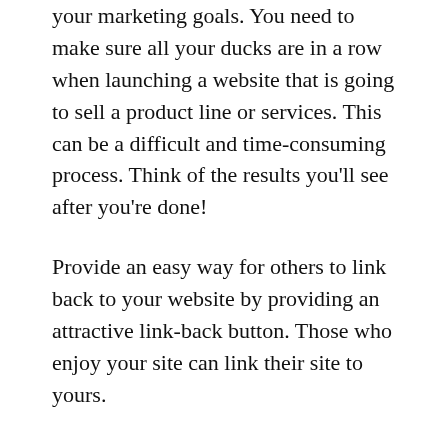your marketing goals. You need to make sure all your ducks are in a row when launching a website that is going to sell a product line or services. This can be a difficult and time-consuming process. Think of the results you'll see after you're done!
Provide an easy way for others to link back to your website by providing an attractive link-back button. Those who enjoy your site can link their site to yours.
Knowing what your competitors are up to is a vital part of website marketing. It doesn't matter the niche you choose to work in, there will always be some sort of competition.